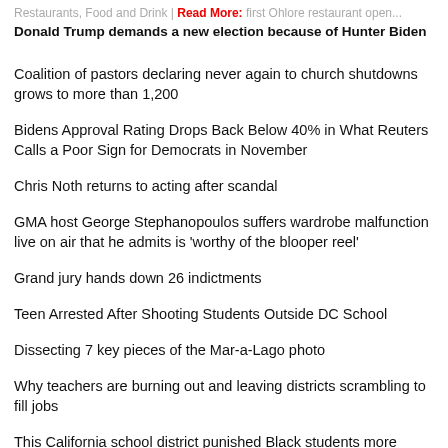Restaurants, Food and Drink | Read More: first Ohlore restaurant open...
Donald Trump demands a new election because of Hunter Biden
Coalition of pastors declaring never again to church shutdowns grows to more than 1,200
Bidens Approval Rating Drops Back Below 40% in What Reuters Calls a Poor Sign for Democrats in November
Chris Noth returns to acting after scandal
GMA host George Stephanopoulos suffers wardrobe malfunction live on air that he admits is 'worthy of the blooper reel'
Grand jury hands down 26 indictments
Teen Arrested After Shooting Students Outside DC School
Dissecting 7 key pieces of the Mar-a-Lago photo
Why teachers are burning out and leaving districts scrambling to fill jobs
This California school district punished Black students more severely, feds say. Now they have agreed to make changes.
Trump's attorneys face scrutiny over level of cooperation with Justice Department on classified docs
What no one tells you when looking for a new home